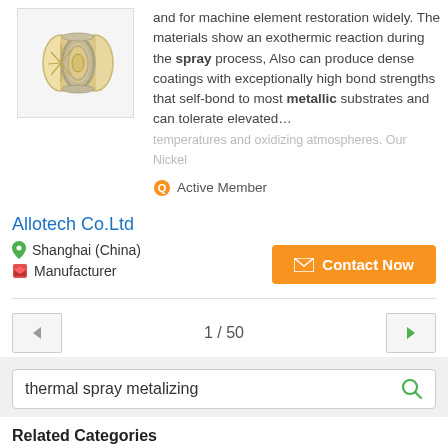[Figure (photo): Spool of metallic wire/wire reel for thermal spray metalizing]
and for machine element restoration widely. The materials show an exothermic reaction during the spray process, Also can produce dense coatings with exceptionally high bond strengths that self-bond to most metallic substrates and can tolerate elevated… temperatures and oxidizing atmospheres. Our Nickel
Active Member
Allotech Co.Ltd
Shanghai (China)
Manufacturer
Contact Now
1 / 50
thermal spray metalizing
Related Categories
thermal spray coating machine
sulzer metco thermal spray
thermal spray coating self…
thermal spray for durian